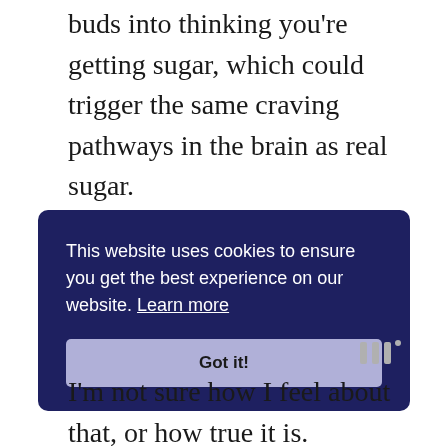buds into thinking you're getting sugar, which could trigger the same craving pathways in the brain as real sugar.
[Figure (screenshot): Cookie consent banner with dark navy blue background. Text reads: 'This website uses cookies to ensure you get the best experience on our website. Learn more' with a 'Got it!' button below in light purple.]
[Figure (logo): Tally app logo — three vertical bars with a superscript degree symbol, in grey.]
I'm not sure how I feel about that, or how true it is.